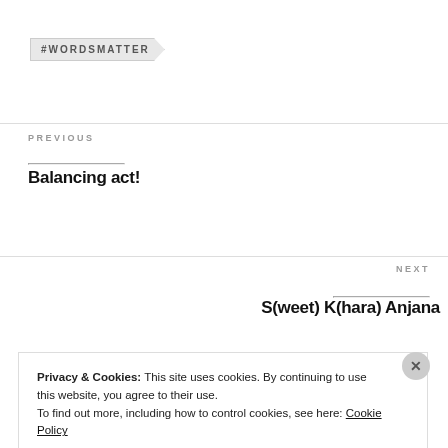#WORDSMATTER
PREVIOUS
Balancing act!
NEXT
S(weet) K(hara) Anjana
Privacy & Cookies: This site uses cookies. By continuing to use this website, you agree to their use.
To find out more, including how to control cookies, see here: Cookie Policy
Close and accept